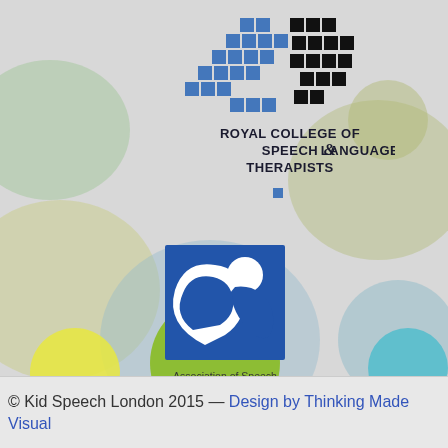[Figure (logo): Royal College of Speech & Language Therapists logo: pixel-style blue and black square pattern above text 'ROYAL COLLEGE OF SPEECH & LANGUAGE THERAPISTS']
[Figure (logo): Association of Speech and Language Therapists in Independent Pratice logo: blue square with white speech-bubble/figure silhouettes, with text below]
© Kid Speech London 2015 — Design by Thinking Made Visual